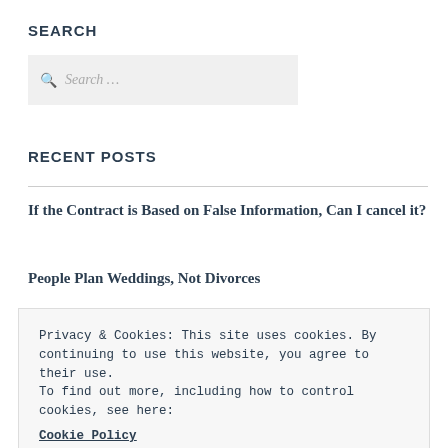SEARCH
[Figure (screenshot): Search input box with magnifying glass icon and placeholder text 'Search ...']
RECENT POSTS
If the Contract is Based on False Information, Can I cancel it?
People Plan Weddings, Not Divorces
Privacy & Cookies: This site uses cookies. By continuing to use this website, you agree to their use.
To find out more, including how to control cookies, see here: Cookie Policy